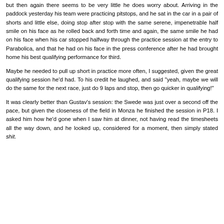but then again there seems to be very little he does worry about. Arriving in the paddock yesterday his team were practicing pitstops, and he sat in the car in a pair of shorts and little else, doing stop after stop with the same serene, impenetrable half smile on his face as he rolled back and forth time and again, the same smile he had on his face when his car stopped halfway through the practice session at the entry to Parabolica, and that he had on his face in the press conference after he had brought home his best qualifying performance for third.
Maybe he needed to pull up short in practice more often, I suggested, given the great qualifying session he'd had. To his credit he laughed, and said "yeah, maybe we will do the same for the next race, just do 9 laps and stop, then go quicker in qualifying!"
It was clearly better than Gustav's session: the Swede was just over a second off the pace, but given the closeness of the field in Monza he finished the session in P18. I asked him how he'd gone when I saw him at dinner, not having read the timesheets all the way down, and he looked up, considered for a moment, then simply stated shit.